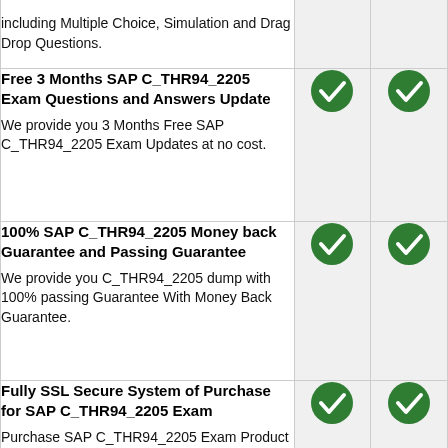| Feature | Col1 | Col2 |
| --- | --- | --- |
| including Multiple Choice, Simulation and Drag Drop Questions. | ✓ | ✓ |
| Free 3 Months SAP C_THR94_2205 Exam Questions and Answers Update
We provide you 3 Months Free SAP C_THR94_2205 Exam Updates at no cost. | ✓ | ✓ |
| 100% SAP C_THR94_2205 Money back Guarantee and Passing Guarantee
We provide you C_THR94_2205 dump with 100% passing Guarantee With Money Back Guarantee. | ✓ | ✓ |
| Fully SSL Secure System of Purchase for SAP C_THR94_2205 Exam
Purchase SAP C_THR94_2205 Exam Product with fully SSL Secure system and available in your Marks4Sure | ✓ | ✓ |